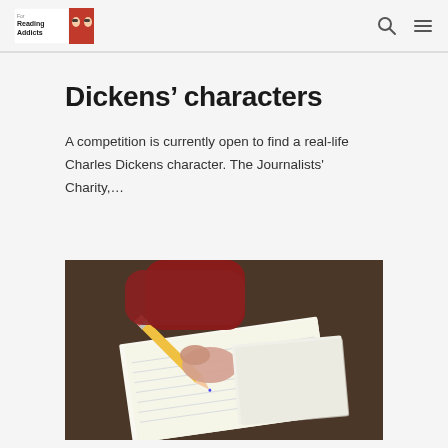Reading Addicts logo with search and menu icons
Dickens’ characters
A competition is currently open to find a real-life Charles Dickens character. The Journalists' Charity,...
[Figure (photo): Close-up photo of hands writing in a lined notebook with a pencil, person wearing a dark red sweater, dark wooden desk surface visible]